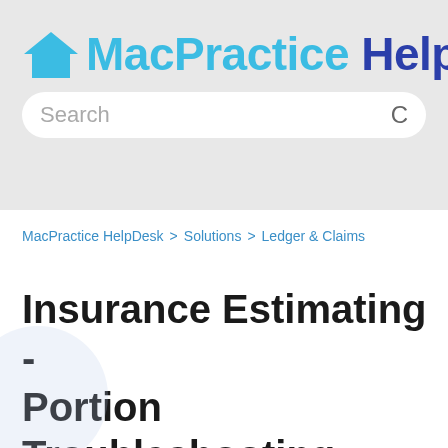[Figure (logo): MacPractice HelpDesk logo with blue house icon and blue text]
Search
MacPractice HelpDesk > Solutions > Ledger & Claims
Insurance Estimating - Portion Troubleshooting